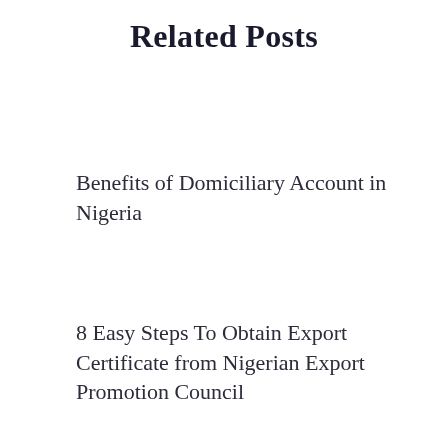Related Posts
Benefits of Domiciliary Account in Nigeria
8 Easy Steps To Obtain Export Certificate from Nigerian Export Promotion Council